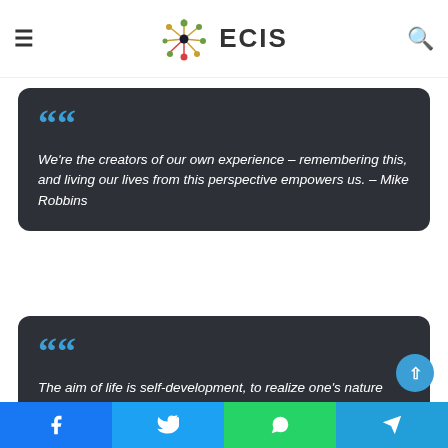≡  ECIS  🔍
We're the creators of our own experience – remembering this, and living our lives from this perspective empowers us. – Mike Robbins
The aim of life is self-development, to realize one's nature perfectly